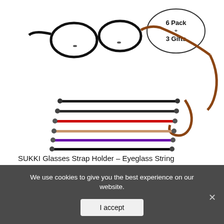[Figure (photo): Product image showing glasses with an orange/brown lanyard strap attached, plus 6 glasses straps laid flat in colors: black, dark black, red, brown/tan, purple, black. An oval badge reads '6 Pack + 3 Gifts'.]
SUKKI Glasses Strap Holder – Eyeglass String Retainer Cord – Glasses Lanyard Chain Ne...
We use cookies to give you the best experience on our website.
I accept